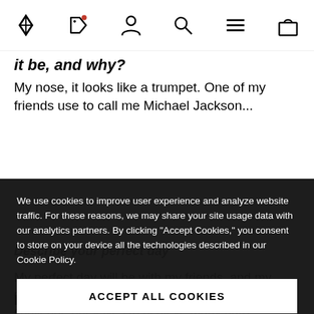[Navigation bar with Black Diamond logo, tag icon with notification, user icon, search icon, hamburger menu, cart icon]
it be, and why?
My nose, it looks like a trumpet. One of my friends use to call me Michael Jackson...
We use cookies to improve user experience and analyze website traffic. For these reasons, we may share your site usage data with our analytics partners. By clicking "Accept Cookies," you consent to store on your device all the technologies described in our Cookie Policy.
ACCEPT ALL COOKIES
ALLOW SELECTION ONLY
Necessary  Preferences  Statistics
Marketing
Describe your perfect day
My perfect day will be with my friends, and my cousin, Eliana. We would go on a climbing trip and challenge ourselves to achieve many hard boulders. Then, we surf in a wonderful beach at sunset. After we eat a delicious dinner and party during the night.
How would your friends describe you?